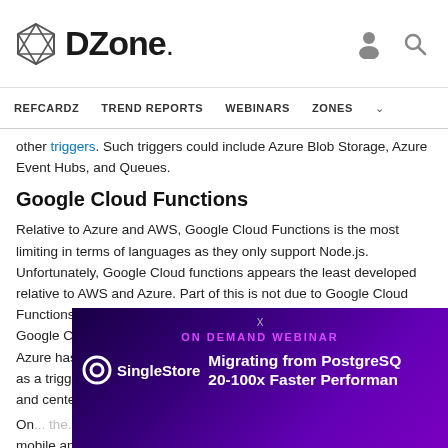DZone. [navigation] REFCARDZ  TREND REPORTS  WEBINARS  ZONES
other triggers. Such triggers could include Azure Blob Storage, Azure Event Hubs, and Queues.
Google Cloud Functions
Relative to Azure and AWS, Google Cloud Functions is the most limiting in terms of languages as they only support Node.js. Unfortunately, Google Cloud functions appears the least developed relative to AWS and Azure. Part of this is not due to Google Cloud Functions but that Google has the fewest number of offerings in Google Cloud that could serve as triggers. AWS has Kinesis and Azure has EventHubs, but Google has no equivalent offering to serve as a trigger. Unlike AWS, Google is not pushing Cloud Functions front and center. Internal development at Google... Functions...
On... the... Function for Firebase, which may be useful if you're a mobile app startup
[Figure (screenshot): Advertisement overlay: SingleStore ON DEMAND WEBINAR - Migrating from PostgreSQL 20-100x Faster Performance]